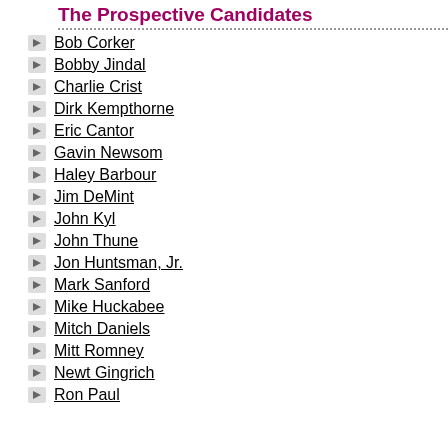The Prospective Candidates
Bob Corker
Bobby Jindal
Charlie Crist
Dirk Kempthorne
Eric Cantor
Gavin Newsom
Haley Barbour
Jim DeMint
John Kyl
John Thune
Jon Huntsman, Jr.
Mark Sanford
Mike Huckabee
Mitch Daniels
Mitt Romney
Newt Gingrich
Ron Paul
The belt-tightening espo... massive budget shortfall... certainly not to his top p...
After entering office last... Cabinet secretary positio... One legislator called Mo... against some of the pay...
Republican Rep. Hunter G...
"I think it should be revis... year that I thought there... high."
Some of those high salar...
Among the pay increase... Moret receives $320,000... paid to his predecessor:... year, compared to the $... governor's homeland se... predecessor, with a $1...